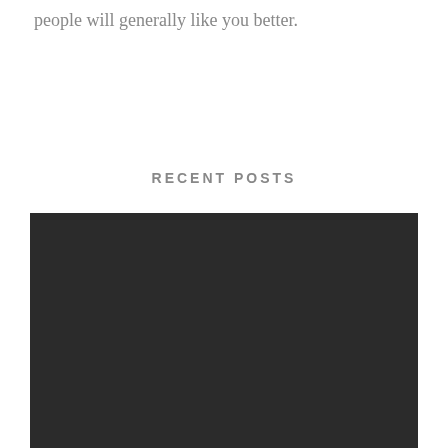people will generally like you better.
RECENT POSTS
[Figure (photo): A large dark/black rectangular image placeholder occupying the lower portion of the page]